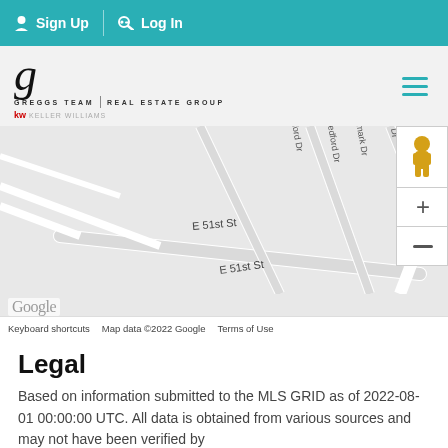Sign Up | Log In
[Figure (logo): Greggs Team Real Estate Group / KW logo with script G]
[Figure (map): Google Maps showing location near E 51st St and Pecan Sp, with home marker pin, street labels including edford Dr, hallmark Dr, and map controls]
Keyboard shortcuts   Map data ©2022 Google   Terms of Use
Legal
Based on information submitted to the MLS GRID as of 2022-08-01 00:00:00 UTC. All data is obtained from various sources and may not have been verified by